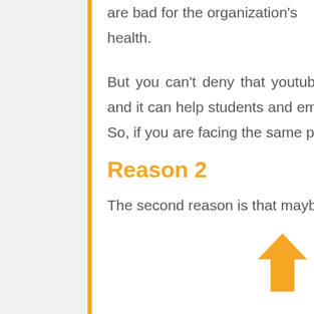are bad for the organization's health.
But you can't deny that youtube has an abundance of productive videos, and it can help students and employees understand and learn things better. So, if you are facing the same problem, then stick to this article.
Reason 2
The second reason is that maybe your government has blocked your